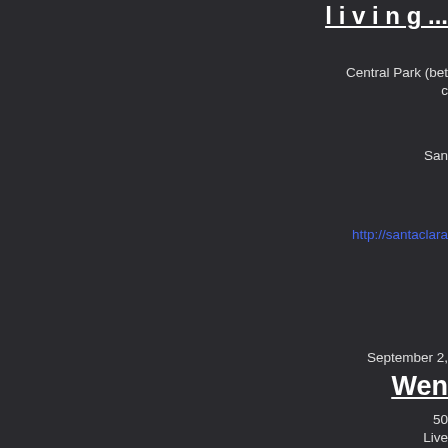[Event title — partially visible, underlined]
Central Park (bet...
San...
http://santaclara...
September 2...
Wen...
50...
Live...
(
https://www...
October 2,...
Marin Country Mart Fri...
2257 La...
Lar...
http://www....
October 3,...